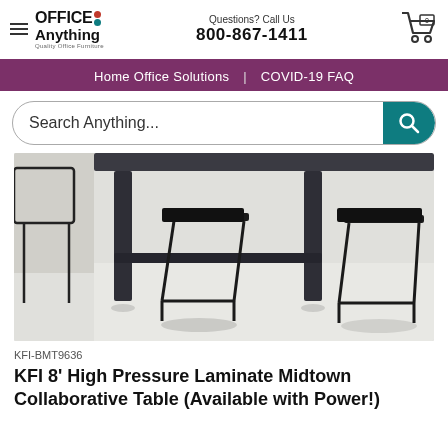OFFICE Anything | Questions? Call Us 800-867-1411
Home Office Solutions | COVID-19 FAQ
Search Anything...
[Figure (photo): Photo of black wire-frame bar stools/seats under a dark-legged high table on a light gray floor]
KFI-BMT9636
KFI 8' High Pressure Laminate Midtown Collaborative Table (Available with Power!)